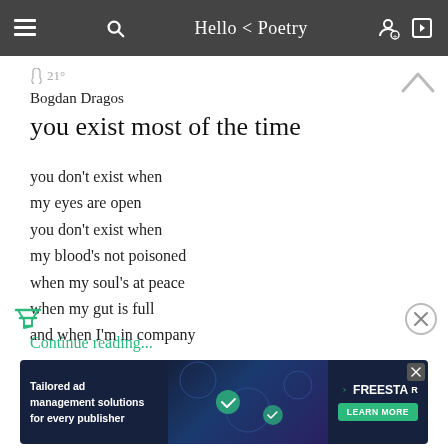Hello < Poetry
21°
Bogdan Dragos
you exist most of the time
you don't exist when
my eyes are open
you don't exist when
my blood's not poisoned
when my soul's at peace
when my gut is full
and when I'm in company
Continue reading...
[Figure (screenshot): Advertisement banner: Tailored ad management solutions for every publisher — FreeSTAR, LEARN MORE button]